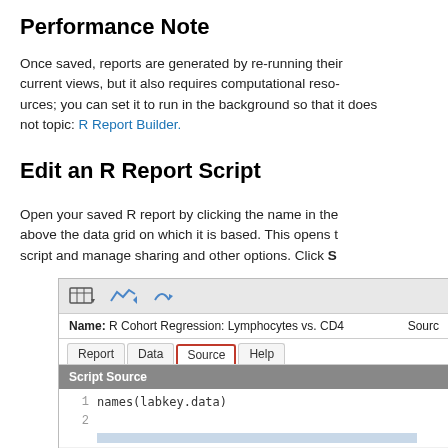Performance Note
Once saved, reports are generated by re-running their current views, but it also requires computational resources; you can set it to run in the background so that it does not topic: R Report Builder.
Edit an R Report Script
Open your saved R report by clicking the name in the above the data grid on which it is based. This opens the script and manage sharing and other options. Click S
[Figure (screenshot): Screenshot of R Report Builder interface showing the Source tab selected (highlighted with orange circle), Name field showing 'R Cohort Regression: Lymphocytes vs. CD4', tabs for Report/Data/Source/Help, Script Source panel with code 'names(labkey.data)' and a second line partially visible.]